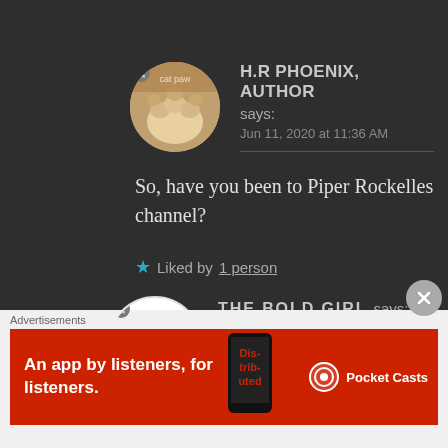[Figure (photo): Circular avatar of H.R Phoenix showing a cat paw being held by a person]
H.R PHOENIX, AUTHOR says:
Jun 11, 2020 at 11:36 AM
So, have you been to Piper Rockelles channel?
★ Liked by 1 person
[Figure (logo): Circular avatar with The Bold Vibe logo]
THE BOLD GIRL says:
Jun 11, 2020 at 5:08 PM
Advertisements
[Figure (screenshot): Pocket Casts advertisement banner: An app by listeners, for listeners.]